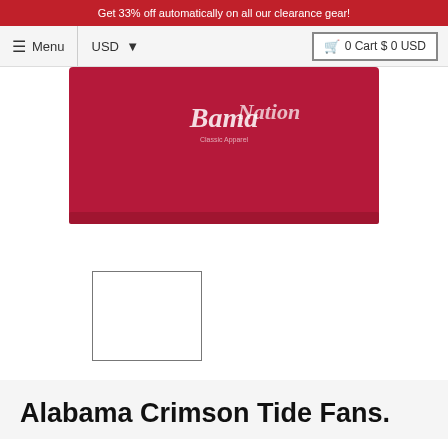Get 33% off automatically on all our clearance gear!
Menu  USD  0 Cart $ 0 USD
[Figure (photo): Bottom portion of a red Alabama Crimson Tide t-shirt with white script text and small logo on chest area]
[Figure (photo): Small white empty thumbnail box for product image selection]
Alabama Crimson Tide Fans.